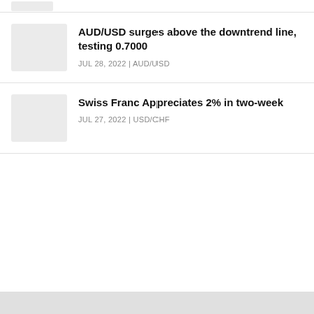[Figure (other): Partial thumbnail image placeholder at top of page, cut off]
AUD/USD surges above the downtrend line, testing 0.7000
JUL 28, 2022 | AUD/USD
Swiss Franc Appreciates 2% in two-week
JUL 27, 2022 | USD/CHF